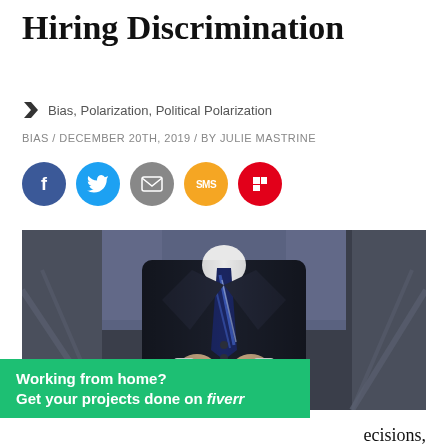Hiring Discrimination
Bias, Polarization, Political Polarization
BIAS / DECEMBER 20TH, 2019 / BY JULIE MASTRINE
[Figure (illustration): Social sharing buttons: Facebook (blue), Twitter (light blue), Email (gray), SMS (yellow/orange), Flipboard (red)]
[Figure (photo): A headless businessman in a dark navy suit with a striped tie, buttoning his jacket, standing in front of an escalator. The person's head is cropped out of frame.]
Working from home?
Get your projects done on fiverr
ecisions,